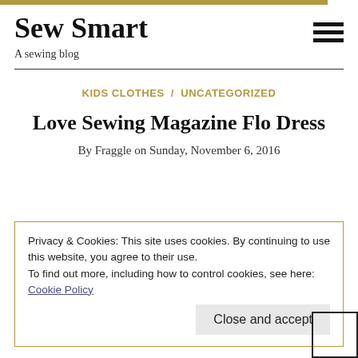Sew Smart
A sewing blog
KIDS CLOTHES / UNCATEGORIZED
Love Sewing Magazine Flo Dress
By Fraggle on Sunday, November 6, 2016
Privacy & Cookies: This site uses cookies. By continuing to use this website, you agree to their use.
To find out more, including how to control cookies, see here: Cookie Policy
Close and accept